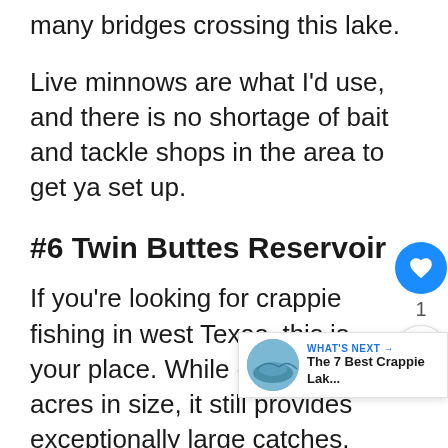many bridges crossing this lake.
Live minnows are what I'd use, and there is no shortage of bait and tackle shops in the area to get ya set up.
#6 Twin Buttes Reservoir
If you're looking for crappie fishing in west Texas, this is your place. While only 9,000 acres in size, it still provides exceptionally large catches.
This lake, situated near San Angelo, is known for plenty of keepers, many